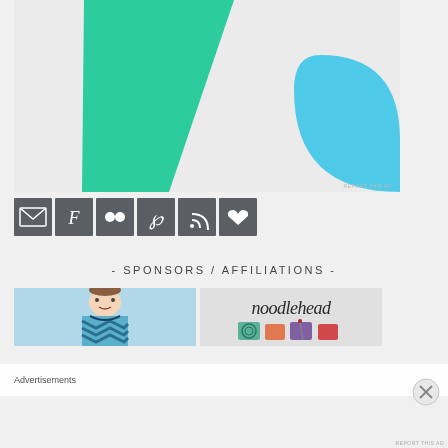[Figure (illustration): Advertisement banner with green kite/arrow shape on left and blue arc shape on right, on light gray background. 'REPORT THIS AD' text at bottom right.]
[Figure (infographic): Row of 6 social media icon buttons in dark gray squares: email/envelope, Facebook F, Flickr dots, Pinterest P, RSS feed, heart/favorites]
- SPONSORS / AFFILIATIONS -
[Figure (photo): Photo of a young child wearing a blue and teal chevron-patterned outfit]
[Figure (logo): Noodlehead logo in cursive script on light gray background with fabric/craft items below]
Advertisements
REPORT THIS AD
REPORT THIS AD